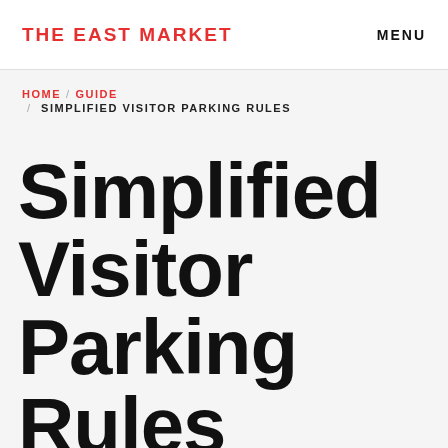THE EAST MARKET   MENU
HOME / GUIDE / SIMPLIFIED VISITOR PARKING RULES
Simplified Visitor Parking Rules